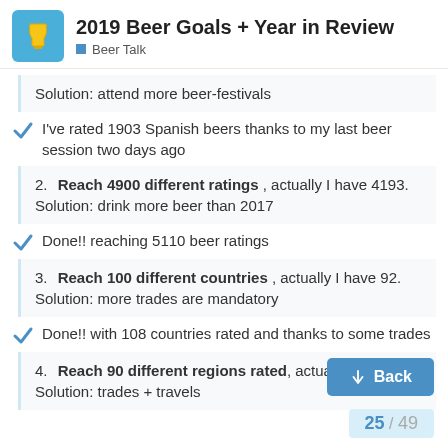2019 Beer Goals + Year in Review — Beer Talk
Solution: attend more beer-festivals
I've rated 1903 Spanish beers thanks to my last beer session two days ago
2. Reach 4900 different ratings , actually I have 4193. Solution: drink more beer than 2017
Done!! reaching 5110 beer ratings
3. Reach 100 different countries , actually I have 92. Solution: more trades are mandatory
Done!! with 108 countries rated and thanks to some trades
4. Reach 90 different regions rated, actually I have 74. Solution: trades + travels
25 / 49